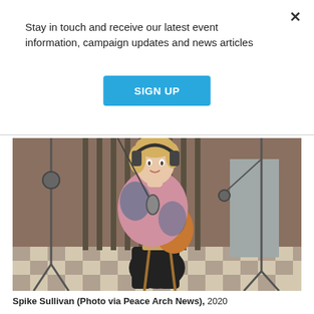Stay in touch and receive our latest event information, campaign updates and news articles
[Figure (other): Blue 'SIGN UP' button]
[Figure (photo): Young man wearing headphones and playing an acoustic guitar while sitting on a stool in a recording studio. He wears a pink and black tie-dye hoodie. Microphone stands are visible around him.]
Spike Sullivan (Photo via Peace Arch News), 2020